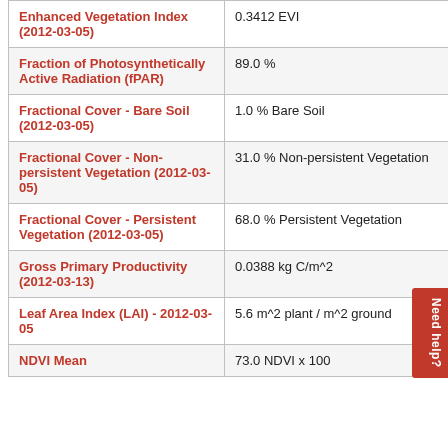| Property | Value |
| --- | --- |
| Enhanced Vegetation Index (2012-03-05) | 0.3412 EVI |
| Fraction of Photosynthetically Active Radiation (fPAR) | 89.0 % |
| Fractional Cover - Bare Soil (2012-03-05) | 1.0 % Bare Soil |
| Fractional Cover - Non-persistent Vegetation (2012-03-05) | 31.0 % Non-persistent Vegetation |
| Fractional Cover - Persistent Vegetation (2012-03-05) | 68.0 % Persistent Vegetation |
| Gross Primary Productivity (2012-03-13) | 0.0388 kg C/m^2 |
| Leaf Area Index (LAI) - 2012-03-05 | 5.6 m^2 plant / m^2 ground |
| NDVI Mean | 73.0 NDVI x 100 |